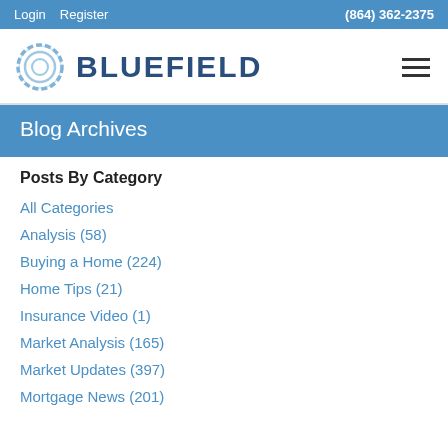Login  Register  (864) 362-2375
[Figure (logo): Bluefield logo with circular swirl icon and BLUEFIELD text in dark blue]
Blog Archives
Posts By Category
All Categories
Analysis  (58)
Buying a Home  (224)
Home Tips  (21)
Insurance Video  (1)
Market Analysis  (165)
Market Updates  (397)
Mortgage News  (201)